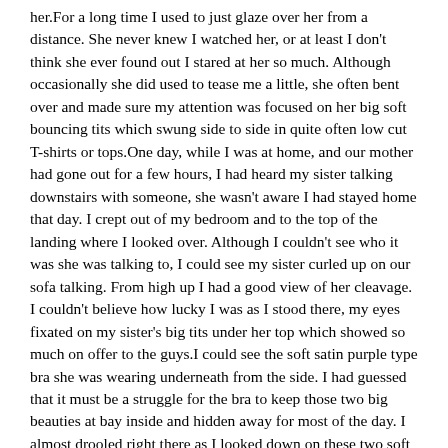her.For a long time I used to just glaze over her from a distance. She never knew I watched her, or at least I don't think she ever found out I stared at her so much. Although occasionally she did used to tease me a little, she often bent over and made sure my attention was focused on her big soft bouncing tits which swung side to side in quite often low cut T-shirts or tops.One day, while I was at home, and our mother had gone out for a few hours, I had heard my sister talking downstairs with someone, she wasn't aware I had stayed home that day. I crept out of my bedroom and to the top of the landing where I looked over. Although I couldn't see who it was she was talking to, I could see my sister curled up on our sofa talking. From high up I had a good view of her cleavage. I couldn't believe how lucky I was as I stood there, my eyes fixated on my sister's big tits under her top which showed so much on offer to the guys.I could see the soft satin purple type bra she was wearing underneath from the side. I had guessed that it must be a struggle for the bra to keep those two big beauties at bay inside and hidden away for most of the day. I almost drooled right there as I looked down on these two soft